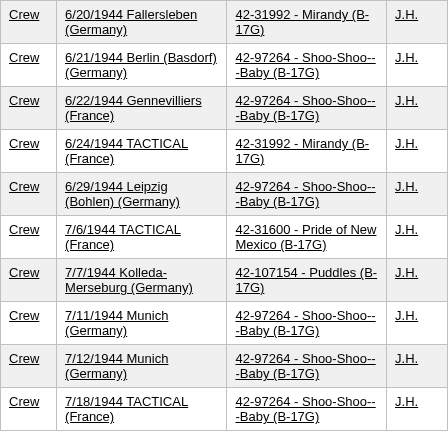|  | Mission | Aircraft | Pilot |
| --- | --- | --- | --- |
| Crew | 6/20/1944 Fallersleben (Germany) | 42-31992 - Mirandy (B-17G) | J.H. |
| Crew | 6/21/1944 Berlin (Basdorf) (Germany) | 42-97264 - Shoo-Shoo---Baby (B-17G) | J.H. |
| Crew | 6/22/1944 Gennevilliers (France) | 42-97264 - Shoo-Shoo---Baby (B-17G) | J.H. |
| Crew | 6/24/1944 TACTICAL (France) | 42-31992 - Mirandy (B-17G) | J.H. |
| Crew | 6/29/1944 Leipzig (Bohlen) (Germany) | 42-97264 - Shoo-Shoo---Baby (B-17G) | J.H. |
| Crew | 7/6/1944 TACTICAL (France) | 42-31600 - Pride of New Mexico (B-17G) | J.H. |
| Crew | 7/7/1944 Kolleda-Merseburg (Germany) | 42-107154 - Puddles (B-17G) | J.H. |
| Crew | 7/11/1944 Munich (Germany) | 42-97264 - Shoo-Shoo---Baby (B-17G) | J.H. |
| Crew | 7/12/1944 Munich (Germany) | 42-97264 - Shoo-Shoo---Baby (B-17G) | J.H. |
| Crew | 7/18/1944 TACTICAL (France) | 42-97264 - Shoo-Shoo---Baby (B-17G) | J.H. |